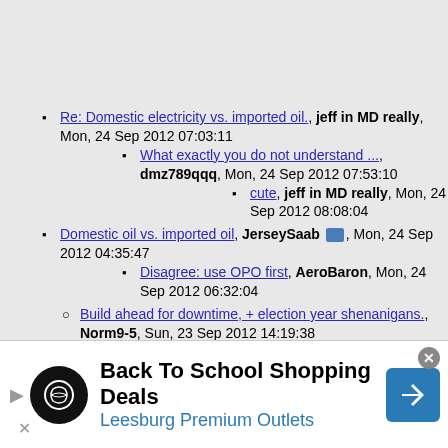Re: Domestic electricity vs. imported oil., jeff in MD really, Mon, 24 Sep 2012 07:03:11
What exactly you do not understand ..., dmz789qqq, Mon, 24 Sep 2012 07:53:10
cute, jeff in MD really, Mon, 24 Sep 2012 08:08:04
Domestic oil vs. imported oil, JerseySaab [icon], Mon, 24 Sep 2012 04:35:47
Disagree: use OPO first, AeroBaron, Mon, 24 Sep 2012 06:32:04
Build ahead for downtime, + election year shenanigans., Norm9-5, Sun, 23 Sep 2012 14:19:38
Re: Build ahead for downtime, + election year shenanigans., friendofbear [icon], Mon, 24 Sep...
[Figure (infographic): Advertisement banner: Back To School Shopping Deals, Leesburg Premium Outlets, with circular logo, navigation arrow icon, and close button]